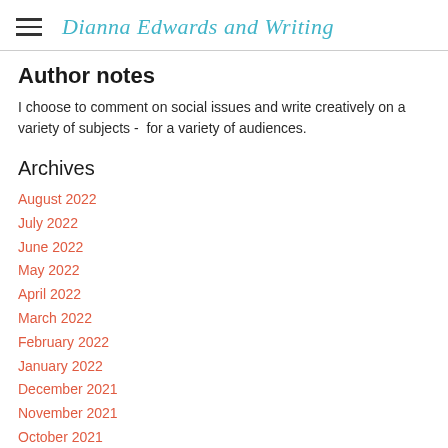Dianna Edwards and Writing
Author notes
I choose to comment on social issues and write creatively on a variety of subjects -  for a variety of audiences.
Archives
August 2022
July 2022
June 2022
May 2022
April 2022
March 2022
February 2022
January 2022
December 2021
November 2021
October 2021